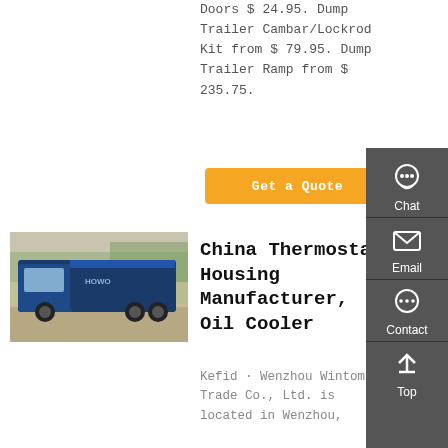Doors $ 24.95. Dump Trailer Cambar/Lockrod Kit from $ 79.95. Dump Trailer Ramp from $ 235.75.
Get a Quote
[Figure (photo): Blue HOWO dump truck parked outdoors in front of trees and a wall]
China Thermostat Housing Manufacturer, Oil Cooler
Kefid · Wenzhou Wintom Trade Co., Ltd. is located in Wenzhou,
[Figure (infographic): Sidebar with Chat, Email, Contact, and Top navigation icons on dark grey background]